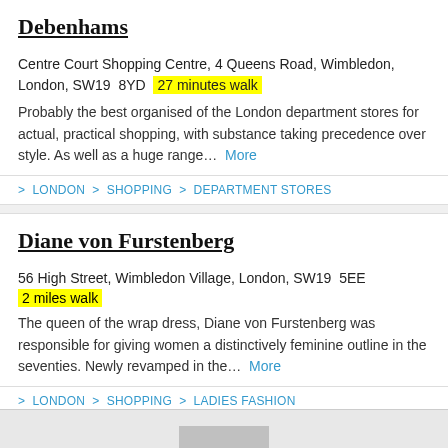Debenhams
Centre Court Shopping Centre, 4 Queens Road, Wimbledon, London, SW19 8YD  27 minutes walk
Probably the best organised of the London department stores for actual, practical shopping, with substance taking precedence over style. As well as a huge range...  More
> LONDON > SHOPPING > DEPARTMENT STORES
Diane von Furstenberg
56 High Street, Wimbledon Village, London, SW19 5EE  2 miles walk
The queen of the wrap dress, Diane von Furstenberg was responsible for giving women a distinctively feminine outline in the seventies. Newly revamped in the...  More
> LONDON > SHOPPING > LADIES FASHION